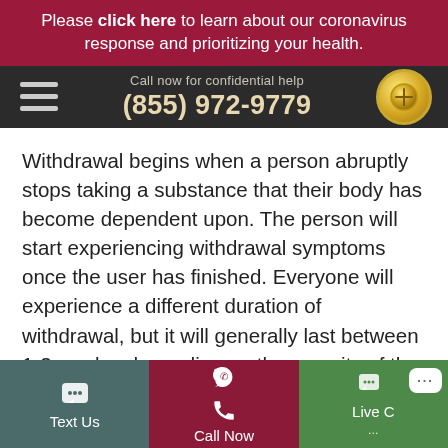Please click here to learn about our coronavirus response and prioritizing your health.
Call now for confidential help (855) 972-9779
Withdrawal begins when a person abruptly stops taking a substance that their body has become dependent upon. The person will start experiencing withdrawal symptoms once the user has finished. Everyone will experience a different duration of withdrawal, but it will generally last between 1-2 weeks, depending on the severity of the addiction. Withdrawal from Dilaudid may appear with flu-like symptoms and are similar to heroin
Text Us | Call Now | Live Chat